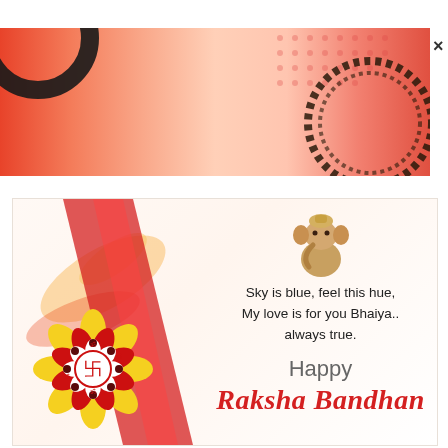[Figure (illustration): Top banner with red-orange gradient background, black decorative circular element on top left, rope/mandala circular design on top right, close X button on far right]
[Figure (illustration): Raksha Bandhan greeting card with cream/white background, decorative rakhi flower with red, yellow, and white petals with swastika center on left side, Ganesha idol image on top right of card, poem text, and Happy Raksha Bandhan text in red cursive script]